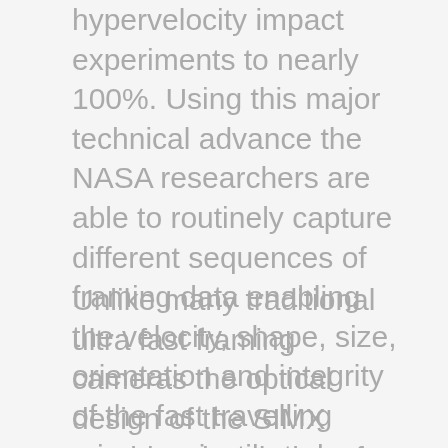hypervelocity impact experiments to nearly 100%. Using this major technical advance the NASA researchers are able to routinely capture different sequences of framing data enabling the velocity, shape, size, orientation and integrity of the fast travelling micro-projectile to be calculated.
Unlike many traditional ultra fast framing cameras the optical design of the SIMX provides the choice of up to 16 separate optical channels without compromising performance or image quality. Effects such as parallax and shading, inherent in other designs, are eliminated and the high spatial resolution (> 50 lp/mm) is the same